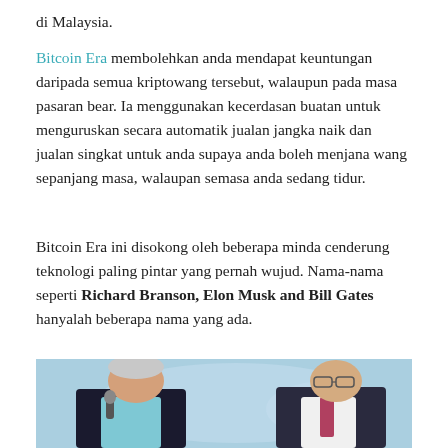di Malaysia.
Bitcoin Era membolehkan anda mendapat keuntungan daripada semua kriptowang tersebut, walaupun pada masa pasaran bear. Ia menggunakan kecerdasan buatan untuk menguruskan secara automatik jualan jangka naik dan jualan singkat untuk anda supaya anda boleh menjana wang sepanjang masa, walaupan semasa anda sedang tidur.
Bitcoin Era ini disokong oleh beberapa minda cenderung teknologi paling pintar yang pernah wujud. Nama-nama seperti Richard Branson, Elon Musk and Bill Gates hanyalah beberapa nama yang ada.
[Figure (photo): Two men sitting at a panel discussion in front of a light blue background with a map. The man on the left has grey-white hair and holds a microphone. The man on the right wears glasses and a dark suit.]